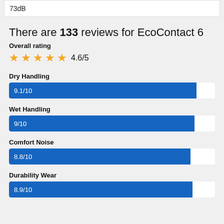73dB
There are 133 reviews for EcoContact 6
Overall rating
4.6/5
Dry Handling
[Figure (bar-chart): Dry Handling]
Wet Handling
[Figure (bar-chart): Wet Handling]
Comfort Noise
[Figure (bar-chart): Comfort Noise]
Durability Wear
[Figure (bar-chart): Durability Wear]